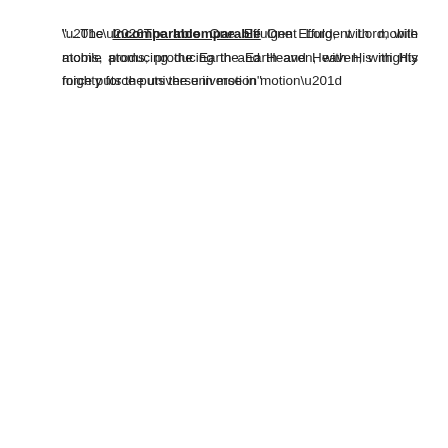“…The Incomparable One Effulgent Lord, with mobile atoms, producing the Earth and Heaven, with His mighty force puts the universe in motion”
– [Yajurveda Chapter 17, Verse 19, pg-179, Tr. Devi Chand]
“God is the Creator of the whole universe, full of knowledge. Ubiquitous Sustainer, Maker, Seer, and foremost of all. He is known as the Incomparable One…”
– [Yajurveda Chapter 17, Verse 26, pg-180, Tr. Devi Chand]
We learn that Moolshankar holds his god Ishwar the so-called supreme spirit to be incomparable, also his interpretation of Vedas assert to this.